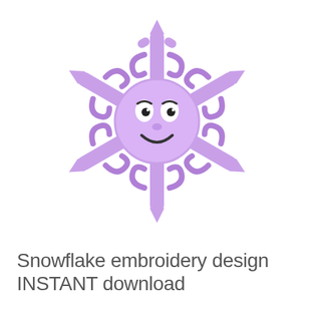[Figure (photo): Purple/lavender embroidered snowflake with a cute cartoon face (eyes and smile), showing intricate snowflake branches and a smiley character in the center, on a white background.]
Snowflake embroidery design INSTANT download
1.00$
1.50$